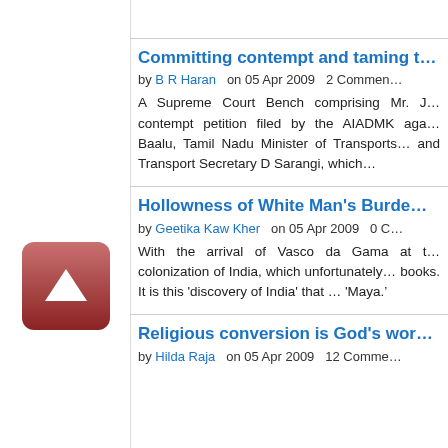[Figure (other): Scroll-up button widget — a rounded square with reddish-brown gradient background and white upward-pointing triangle arrow]
Committing contempt and taming t…
by B R Haran   on 05 Apr 2009   2 Commen…
A Supreme Court Bench comprising Mr. J… contempt petition filed by the AIADMK aga… Baalu, Tamil Nadu Minister of Transports… and Transport Secretary D Sarangi, which…
Hollowness of White Man's Burde…
by Geetika Kaw Kher   on 05 Apr 2009   0 C…
With the arrival of Vasco da Gama at t… colonization of India, which unfortunately… books. It is this 'discovery of India' that … 'Maya.&rsquo
Religious conversion is God's wor…
by Hilda Raja   on 05 Apr 2009   12 Comme…